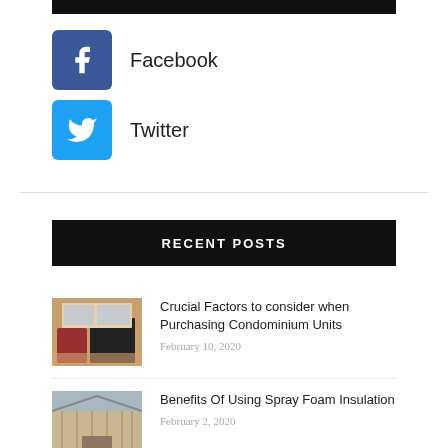[Figure (other): Black header bar, partially visible at top of page]
Facebook
Twitter
RECENT POSTS
[Figure (photo): Thumbnail of kitchen/condominium interior with red furniture]
Crucial Factors to consider when Purchasing Condominium Units
February 10, 2020
[Figure (photo): Thumbnail of barn/spray foam insulation interior]
Benefits Of Using Spray Foam Insulation
February 2, 2020
[Figure (photo): Thumbnail of food/cheap meals photo]
How to Make Cheap Meals that Children Will Actually Eat